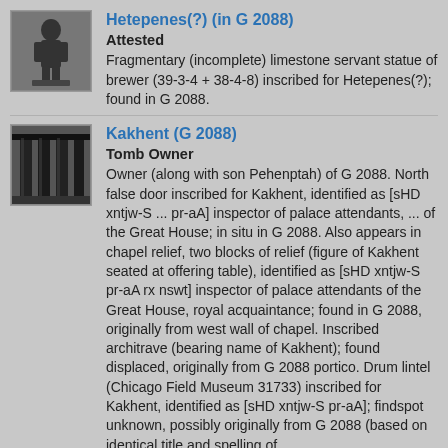Hetepenes(?) (in G 2088)
Attested
Fragmentary (incomplete) limestone servant statue of brewer (39-3-4 + 38-4-8) inscribed for Hetepenes(?); found in G 2088.
[Figure (photo): Small grayscale thumbnail photo of a limestone servant statue fragment]
Kakhent (G 2088)
Tomb Owner
Owner (along with son Pehenptah) of G 2088. North false door inscribed for Kakhent, identified as [sHD xntjw-S ... pr-aA] inspector of palace attendants, ... of the Great House; in situ in G 2088. Also appears in chapel relief, two blocks of relief (figure of Kakhent seated at offering table), identified as [sHD xntjw-S pr-aA rx nswt] inspector of palace attendants of the Great House, royal acquaintance; found in G 2088, originally from west wall of chapel. Inscribed architrave (bearing name of Kakhent); found displaced, originally from G 2088 portico. Drum lintel (Chicago Field Museum 31733) inscribed for Kakhent, identified as [sHD xntjw-S pr-aA]; findspot unknown, possibly originally from G 2088 (based on identical title and spelling of
[Figure (photo): Small grayscale thumbnail photo showing stone columns or pillar details]